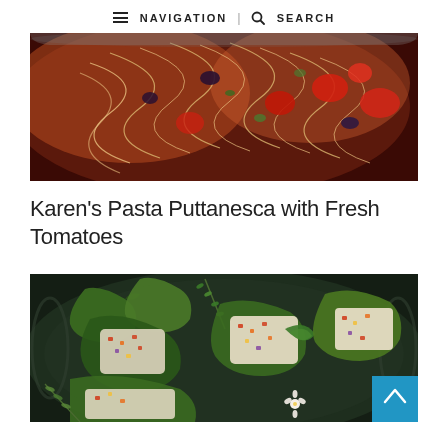NAVIGATION | SEARCH
[Figure (photo): Close-up photo of pasta puttanesca with tomatoes, olives, and herbs in a metal pan]
Karen's Pasta Puttanesca with Fresh Tomatoes
[Figure (photo): Overhead view of stuffed jalapeño peppers with cream cheese filling on a dark metal plate, garnished with fresh herbs and flowers]